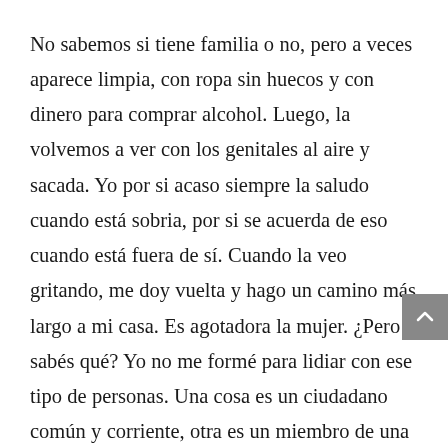No sabemos si tiene familia o no, pero a veces aparece limpia, con ropa sin huecos y con dinero para comprar alcohol. Luego, la volvemos a ver con los genitales al aire y sacada. Yo por si acaso siempre la saludo cuando está sobria, por si se acuerda de eso cuando está fuera de sí. Cuando la veo gritando, me doy vuelta y hago un camino más largo a mi casa. Es agotadora la mujer. ¿Pero sabés qué? Yo no me formé para lidiar con ese tipo de personas. Una cosa es un ciudadano común y corriente, otra es un miembro de una fuerza de seguridad, que debería tener los nervios y la destreza en el arma para manejar una situación así, porque capaz el brote psicótico no es por una adicción de largo plazo, sino una reacción pasajera de un padre de familia por una